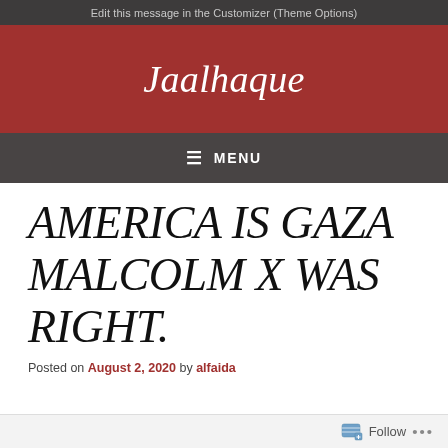Edit this message in the Customizer (Theme Options)
Jaalhaque
☰ MENU
AMERICA IS GAZA MALCOLM X WAS RIGHT.
Posted on August 2, 2020 by alfaida
Follow ...